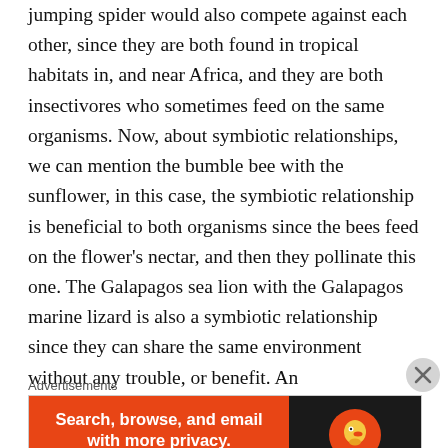jumping spider would also compete against each other, since they are both found in tropical habitats in, and near Africa, and they are both insectivores who sometimes feed on the same organisms. Now, about symbiotic relationships, we can mention the bumble bee with the sunflower, in this case, the symbiotic relationship is beneficial to both organisms since the bees feed on the flower's nectar, and then they pollinate this one. The Galapagos sea lion with the Galapagos marine lizard is also a symbiotic relationship since they can share the same environment without any trouble, or benefit. An
Advertisements
[Figure (screenshot): DuckDuckGo advertisement banner with orange left section reading 'Search, browse, and email with more privacy. All in One Free App' and dark right section showing DuckDuckGo logo duck icon and brand name.]